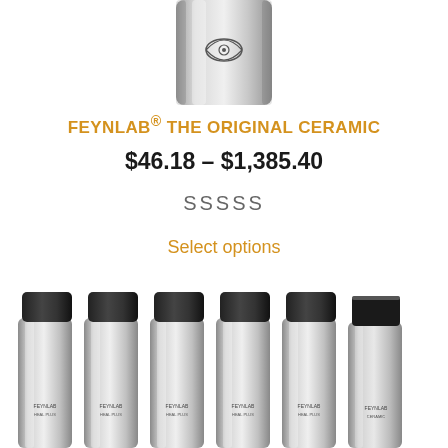[Figure (photo): Top portion of a silver metallic bottle with black cap and Feynlab eye logo, cropped at top]
FEYNLAB® THE ORIGINAL CERAMIC
$46.18 – $1,385.40
SSSSS
Select options
[Figure (photo): Six silver metallic Feynlab bottles with black caps arranged in a row at the bottom of the page]